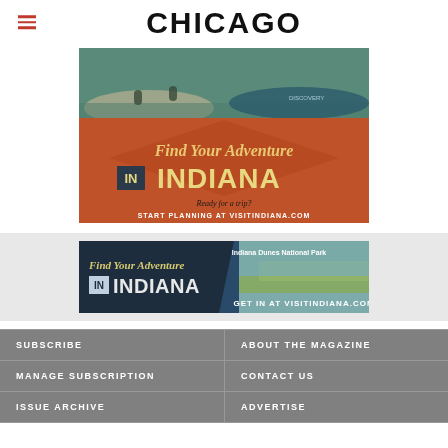CHICAGO
[Figure (infographic): Find Your Adventure IN INDIANA advertisement. Orange background with canoe/kayaking photo. Text: 'Find Your Adventure IN INDIANA. Ready for a trip? START PLANNING AT VISITINDIANA.COM']
[Figure (infographic): Find Your Adventure IN INDIANA banner advertisement. Dark navy background with Indiana Dunes National Park photo. Text: 'Find Your Adventure IN INDIANA. Indiana Dunes National Park. GET IN AT VISITINDIANA.COM']
SUBSCRIBE
ABOUT THE MAGAZINE
MANAGE SUBSCRIPTION
CONTACT US
ISSUE ARCHIVE
ADVERTISE